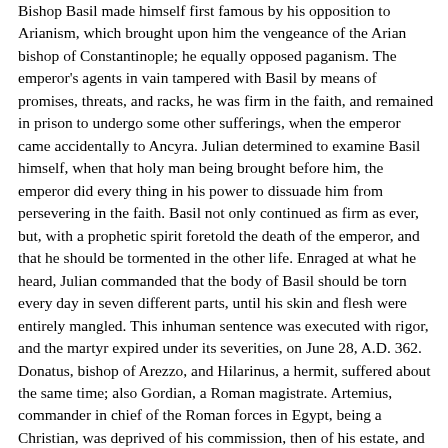Bishop Basil made himself first famous by his opposition to Arianism, which brought upon him the vengeance of the Arian bishop of Constantinople; he equally opposed paganism. The emperor's agents in vain tampered with Basil by means of promises, threats, and racks, he was firm in the faith, and remained in prison to undergo some other sufferings, when the emperor came accidentally to Ancyra. Julian determined to examine Basil himself, when that holy man being brought before him, the emperor did every thing in his power to dissuade him from persevering in the faith. Basil not only continued as firm as ever, but, with a prophetic spirit foretold the death of the emperor, and that he should be tormented in the other life. Enraged at what he heard, Julian commanded that the body of Basil should be torn every day in seven different parts, until his skin and flesh were entirely mangled. This inhuman sentence was executed with rigor, and the martyr expired under its severities, on June 28, A.D. 362.
Donatus, bishop of Arezzo, and Hilarinus, a hermit, suffered about the same time; also Gordian, a Roman magistrate. Artemius, commander in chief of the Roman forces in Egypt, being a Christian, was deprived of his commission, then of his estate, and lastly of his head.
The persecution raged dreadfully about the latter end of the year 363; but, as many of the particulars have not been handed down to us, it is necessary to remark in general, that in Palestine many were